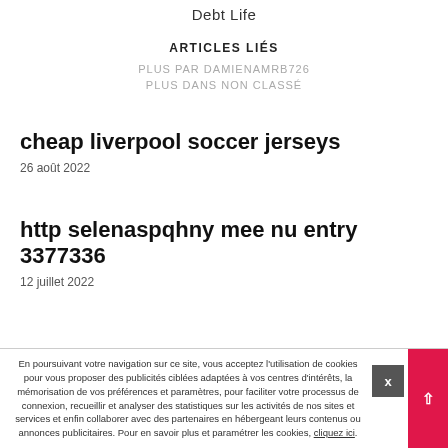Debt Life
ARTICLES LIÉS
PLUS PAR DAMIENAMRB726
PLUS DANS NON CLASSÉ
cheap liverpool soccer jerseys
26 août 2022
http selenaspqhny mee nu entry 3377336
12 juillet 2022
En poursuivant votre navigation sur ce site, vous acceptez l'utilisation de cookies pour vous proposer des publicités ciblées adaptées à vos centres d'intérêts, la mémorisation de vos préférences et paramètres, pour faciliter votre processus de connexion, recueillir et analyser des statistiques sur les activités de nos sites et services et enfin collaborer avec des partenaires en hébergeant leurs contenus ou annonces publicitaires. Pour en savoir plus et paramétrer les cookies, cliquez ici.